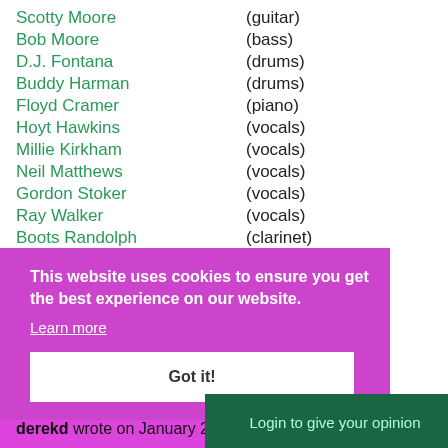Scotty Moore (guitar)
Bob Moore (bass)
D.J. Fontana (drums)
Buddy Harman (drums)
Floyd Cramer (piano)
Hoyt Hawkins (vocals)
Millie Kirkham (vocals)
Neil Matthews (vocals)
Gordon Stoker (vocals)
Ray Walker (vocals)
Boots Randolph (clarinet)
Boots Randolph (sax)
This website uses cookies to ensure you get the best experience on our website. Learn more Got it!
Availability
Find available albums with Good Luck Charm.
Login to give your opinion
derekd wrote on January 28, 2009